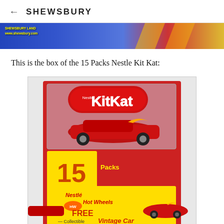← SHEWSBURY
[Figure (photo): Top banner image showing a partial view of a Shewsbury promotional banner with blue and red colors, showing 'SHEWSBURY LAND www.shewsbury.com' text and cartoon lightning bolt graphics]
This is the box of the 15 Packs Nestle Kit Kat:
[Figure (photo): Product photo of a Nestle Kit Kat 15 Packs box with a free Hot Wheels collectible Vintage Car promotion. The red and yellow box shows the Kit Kat logo at the top, a red Hot Wheels race car with flames in a plastic blister, and the bottom half shows the Nestle Hot Wheels branding with 'FREE Collectible Vintage Car' text on a yellow background with a cartoon car illustration.]